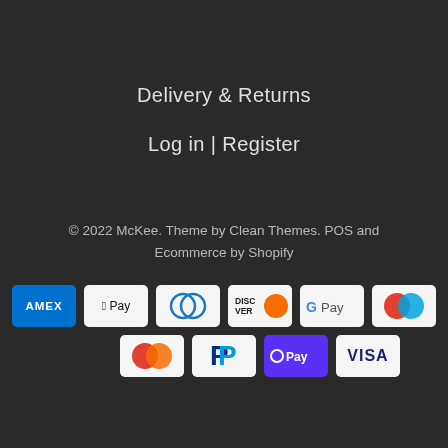Delivery & Returns
Log in | Register
© 2022 McKee. Theme by Clean Themes. POS and Ecommerce by Shopify
[Figure (infographic): Payment method icons: American Express (AMEX), Apple Pay, Diners Club, Discover, Google Pay, Mastercard (red/cyan overlapping circles), Mastercard (red/orange), PayPal, Shop Pay, Visa]